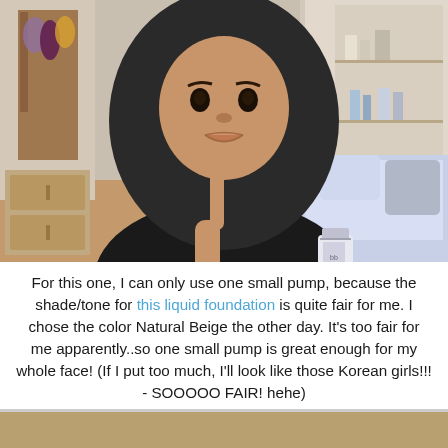[Figure (photo): A woman wearing a black hijab and black clothing holds up one finger and holds a cosmetic product (liquid foundation bottle) in her other hand. She appears to be indoors in a bedroom/dressing room setting.]
For this one, I can only use one small pump, because the shade/tone for this liquid foundation is quite fair for me. I chose the color Natural Beige the other day. It's too fair for me apparently..so one small pump is great enough for my whole face! (If I put too much, I'll look like those Korean girls!!! - SOOOOO FAIR! hehe)